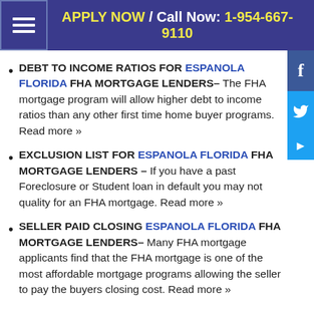APPLY NOW / Call Now: 1-954-667-9110
DEBT TO INCOME RATIOS FOR ESPANOLA FLORIDA FHA MORTGAGE LENDERS– The FHA mortgage program will allow higher debt to income ratios than any other first time home buyer programs. Read more »
EXCLUSION LIST FOR ESPANOLA FLORIDA FHA MORTGAGE LENDERS – If you have a past Foreclosure or Student loan in default you may not quality for an FHA mortgage. Read more »
SELLER PAID CLOSING ESPANOLA FLORIDA FHA MORTGAGE LENDERS– Many FHA mortgage applicants find that the FHA mortgage is one of the most affordable mortgage programs allowing the seller to pay the buyers closing cost. Read more »